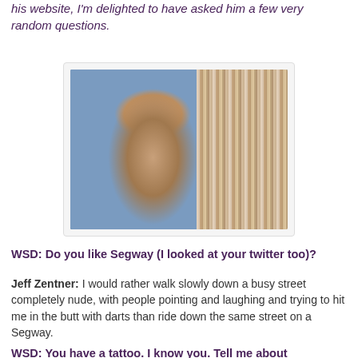his website, I'm delighted to have asked him a few very random questions.
[Figure (photo): Photo of Jeff Zentner, a bearded man in a blue shirt sitting at a table with a bookshelf behind him, looking thoughtfully to the side with hands clasped and a tattoo visible on his forearm.]
WSD: Do you like Segway (I looked at your twitter too)?
Jeff Zentner: I would rather walk slowly down a busy street completely nude, with people pointing and laughing and trying to hit me in the butt with darts than ride down the same street on a Segway.
WSD: You have a tattoo. I know you. Tell me about